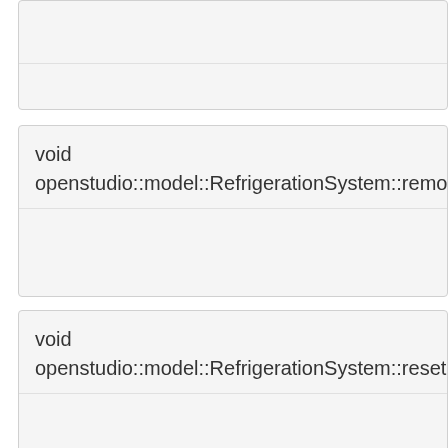void openstudio::model::RefrigerationSystem::removeWalkin...
void openstudio::model::RefrigerationSystem::resetEndUseS...
void openstudio::model::RefrigerationSystem::resetIntercool...